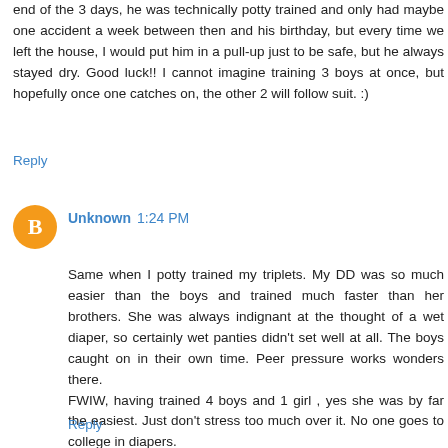end of the 3 days, he was technically potty trained and only had maybe one accident a week between then and his birthday, but every time we left the house, I would put him in a pull-up just to be safe, but he always stayed dry. Good luck!! I cannot imagine training 3 boys at once, but hopefully once one catches on, the other 2 will follow suit. :)
Reply
Unknown  1:24 PM
Same when I potty trained my triplets. My DD was so much easier than the boys and trained much faster than her brothers. She was always indignant at the thought of a wet diaper, so certainly wet panties didn't set well at all. The boys caught on in their own time. Peer pressure works wonders there.
FWIW, having trained 4 boys and 1 girl , yes she was by far the easiest. Just don't stress too much over it. No one goes to college in diapers.
Reply